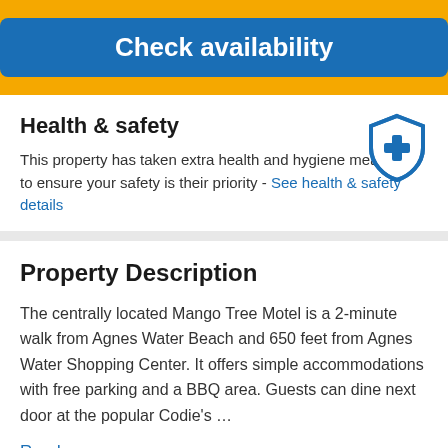[Figure (other): Blue rounded rectangle button with white bold text 'Check availability' on a yellow/gold background banner]
Health & safety
This property has taken extra health and hygiene measures to ensure your safety is their priority - See health & safety details
[Figure (illustration): Blue shield icon with a medical cross/plus symbol inside]
Property Description
The centrally located Mango Tree Motel is a 2-minute walk from Agnes Water Beach and 650 feet from Agnes Water Shopping Center. It offers simple accommodations with free parking and a BBQ area. Guests can dine next door at the popular Codie's …
Read more